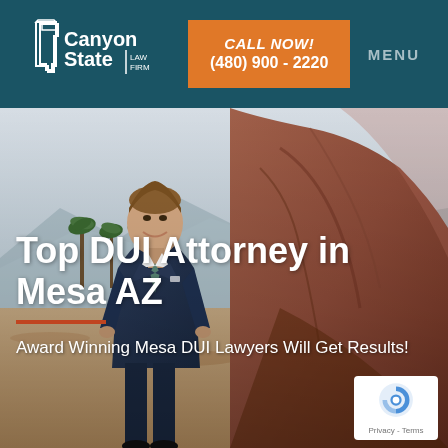Canyon State Law Firm
CALL NOW! (480) 900 - 2220
MENU
[Figure (photo): Attorney in navy blue suit standing outdoors in Arizona desert landscape with red rock formation and palm trees in background]
Top DUI Attorney in Mesa AZ
Award Winning Mesa DUI Lawyers Will Get Results!